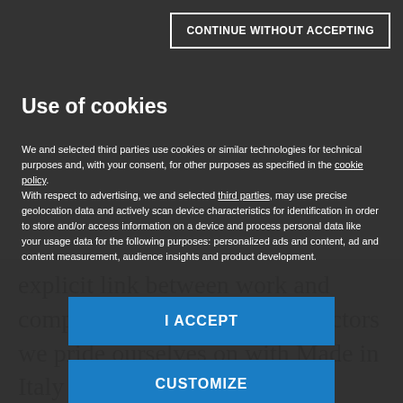[Figure (screenshot): Cookie consent modal overlay on Mondadori Media website. Dark semi-transparent background overlaying an article. Modal contains: 'CONTINUE WITHOUT ACCEPTING' button top right, 'Use of cookies' heading, descriptive text about cookie usage with links to cookie policy and third parties, 'I ACCEPT' blue button, 'CUSTOMIZE' blue button, and Mondadori Media logo. Behind the modal, partially visible article text reads 'explicit link between work and competitiveness because the sectors we pride ourselves on with Made in Italy']